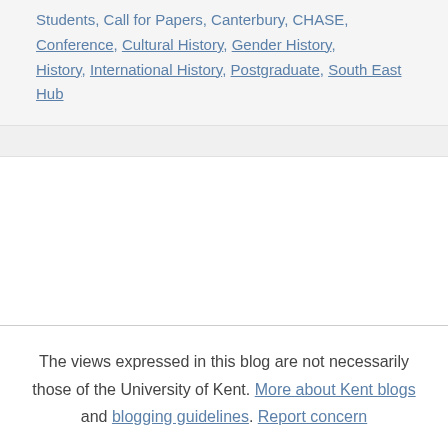Students, Call for Papers, Canterbury, CHASE, Conference, Cultural History, Gender History, History, International History, Postgraduate, South East Hub
The views expressed in this blog are not necessarily those of the University of Kent. More about Kent blogs and blogging guidelines. Report concern